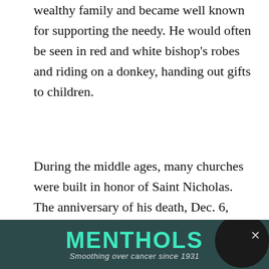wealthy family and became well known for supporting the needy. He would often be seen in red and white bishop's robes and riding on a donkey, handing out gifts to children.
During the middle ages, many churches were built in honor of Saint Nicholas. The anniversary of his death, Dec. 6, became a day to exchange gifts. Dutchman Peter Stuyvesant, founder of New York City, and his fellow immigrants brought with them to the New World their tradition of celebrating Sinterklaas, the Dutch name for Saint Nicholas. Upon arrival in America, Sinterklaas soon took on the American pronunciation, Santa Claus, and
[Figure (other): Advertisement banner with dark teal background, bold teal text reading 'MENTHOLS', italic subtitle 'Smoothing over cancer since 1931', a close button (×) in top right, and a black circle graphic on the right.]